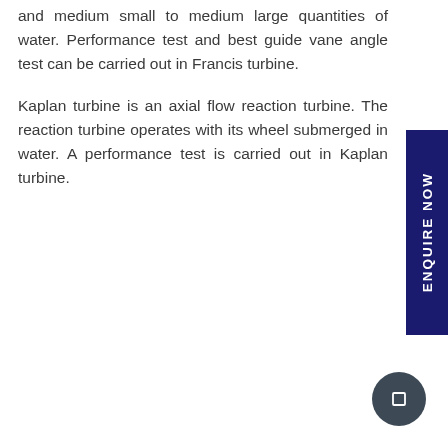and medium small to medium large quantities of water. Performance test and best guide vane angle test can be carried out in Francis turbine.
Kaplan turbine is an axial flow reaction turbine. The reaction turbine operates with its wheel submerged in water. A performance test is carried out in Kaplan turbine.
[Figure (other): Dark navy blue vertical sidebar tab with rotated text reading ENQUIRE NOW]
[Figure (other): Dark circular button with a small square icon in the bottom right corner]